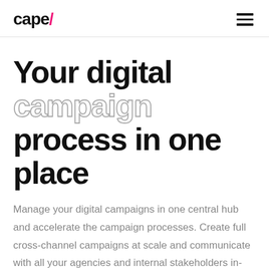cape/
Your digital campaign process in one place
Manage your digital campaigns in one central hub and accelerate the campaign processes. Create full cross-channel campaigns at scale and communicate with all your agencies and internal stakeholders in-tool and assign roles or rights to your team.